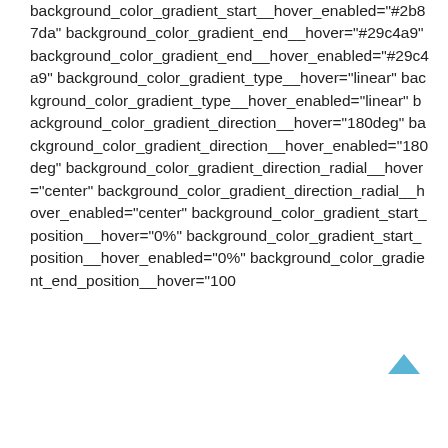background_color_gradient_start__hover_enabled="#2b87da" background_color_gradient_end__hover="#29c4a9" background_color_gradient_end__hover_enabled="#29c4a9" background_color_gradient_type__hover="linear" background_color_gradient_type__hover_enabled="linear" background_color_gradient_direction__hover="180deg" background_color_gradient_direction__hover_enabled="180deg" background_color_gradient_direction_radial__hover="center" background_color_gradient_direction_radial__hover_enabled="center" background_color_gradient_start_position__hover="0%" background_color_gradient_start_position__hover_enabled="0%" background_color_gradient_end_position__hover="100